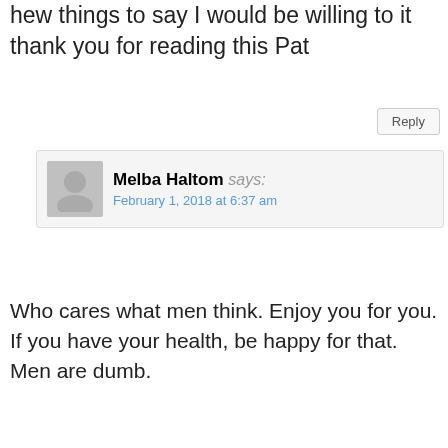hew things to say I would be willing to it thank you for reading this Pat
Reply
Melba Haltom says: February 1, 2018 at 6:37 am
Who cares what men think. Enjoy you for you. If you have your health, be happy for that. Men are dumb.
Polina says: August 17, 2015 at 4:07 pm
Great information!! But how do you make your own mustard oil?? I can never seem to find any DIY mustard oil recipes..:(
Reply